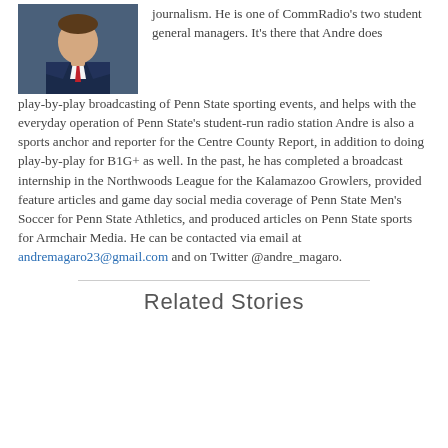[Figure (photo): Headshot of a man in a suit with a red tie, dark jacket, white shirt, against a blue background.]
journalism. He is one of CommRadio's two student general managers. It's there that Andre does play-by-play broadcasting of Penn State sporting events, and helps with the everyday operation of Penn State's student-run radio station Andre is also a sports anchor and reporter for the Centre County Report, in addition to doing play-by-play for B1G+ as well. In the past, he has completed a broadcast internship in the Northwoods League for the Kalamazoo Growlers, provided feature articles and game day social media coverage of Penn State Men's Soccer for Penn State Athletics, and produced articles on Penn State sports for Armchair Media. He can be contacted via email at andremagaro23@gmail.com and on Twitter @andre_magaro.
Related Stories